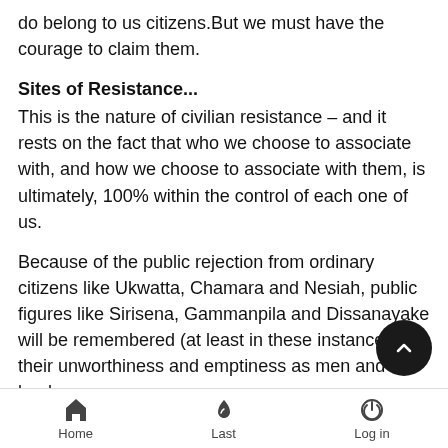do belong to us citizens.But we must have the courage to claim them.
Sites of Resistance...
This is the nature of civilian resistance – and it rests on the fact that who we choose to associate with, and how we choose to associate with them, is ultimately, 100% within the control of each one of us.
Because of the public rejection from ordinary citizens like Ukwatta, Chamara and Nesiah, public figures like Sirisena, Gammanpila and Dissanayake will be remembered (at least in these instances) for their unworthiness and emptiness as men and as leaders.
We need to understand our own power.And we n to act on it.Public figures need endorsement – w means that politicians need our approval of
Home   Last   Log in